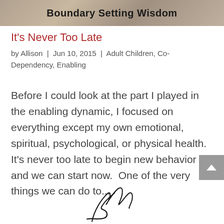[Figure (photo): Top banner image with text 'Boundary Setting Wisdom' overlaid on a blurred background photo]
It's Never Too Late
by Allison | Jun 10, 2015 | Adult Children, Co-Dependency, Enabling
Before I could look at the part I played in the enabling dynamic, I focused on everything except my own emotional, spiritual, psychological, or physical health. It's never too late to begin new behavior and we can start now.  One of the very things we can do to...
[Figure (illustration): Cursive signature or decorative script illustration at bottom center of page]